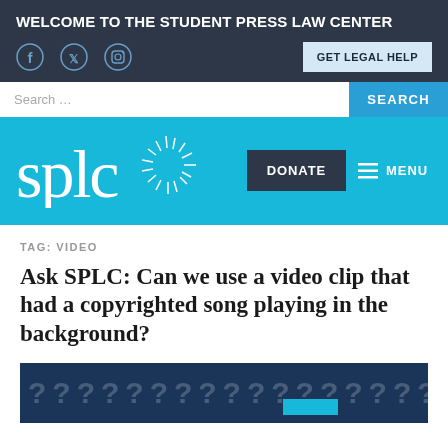WELCOME TO THE STUDENT PRESS LAW CENTER
[Figure (screenshot): SPLC website header with social icons (Facebook, Twitter, Instagram), GET LEGAL HELP button, search bar, SPLC logo on blue background, DONATE and MENU buttons]
TAG: VIDEO
Ask SPLC: Can we use a video clip that had a copyrighted song playing in the background?
[Figure (photo): Dark blue preview image with repeated question mark characters and a small teal/blue bar element]